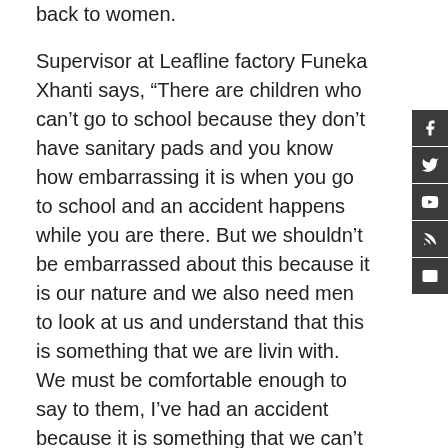back to women.
Supervisor at Leafline factory Funeka Xhanti says, “There are children who can’t go to school because they don’t have sanitary pads and you know how embarrassing it is when you go to school and an accident happens while you are there. But we shouldn’t be embarrassed about this because it is our nature and we also need men to look at us and understand that this is something that we are living with. We must be comfortable enough to say to them, I’ve had an accident because it is something that we can’t change, it is our nature and it will keep our dignity.”
These pads are washable, reusable and environmentally friendly. – a necessary tool in fighting period poverty.
The founder of Leafline Candy Androliakos says, “I think for a year it would cost them about 2 500 as opposed to the disposable which can go up to R70 000. We change